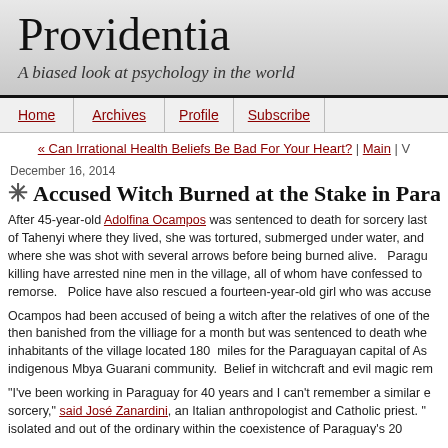Providentia
A biased look at psychology in the world
Home | Archives | Profile | Subscribe
« Can Irrational Health Beliefs Be Bad For Your Heart? | Main | V...
December 16, 2014
Accused Witch Burned at the Stake in Paragu...
After 45-year-old Adolfina Ocampos was sentenced to death for sorcery last... of Tahenyi where they lived, she was tortured, submerged under water, and... where she was shot with several arrows before being burned alive. Paragu... killing have arrested nine men in the village, all of whom have confessed to ... remorse. Police have also rescued a fourteen-year-old girl who was accuse...
Ocampos had been accused of being a witch after the relatives of one of the... then banished from the villiage for a month but was sentenced to death whe... inhabitants of the village located 180 miles for the Paraguayan capital of As... indigenous Mbya Guarani community. Belief in witchcraft and evil magic rem...
"I've been working in Paraguay for 40 years and I can't remember a similar e... sorcery," said José Zanardini, an Italian anthropologist and Catholic priest. "... isolated and out of the ordinary within the coexistence of Paraguay's 20...